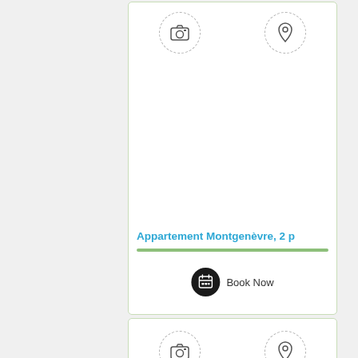[Figure (screenshot): Property listing card showing camera icon and location pin icon placeholders at top, title 'Appartement Montgenèvre, 2 p' in blue, a green separator line, and a Book Now button with calendar icon]
Appartement Montgenèvre, 2 p
Book Now
[Figure (screenshot): Second property listing card showing camera icon and location pin icon placeholders, card is partially visible]